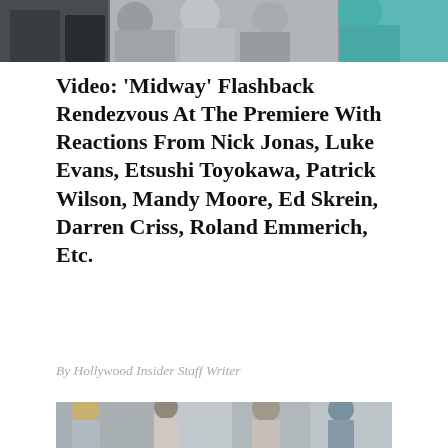[Figure (photo): Top photo strip showing people at a premiere event, partially visible at top of page]
Video: ‘Midway’ Flashback Rendezvous At The Premiere With Reactions From Nick Jonas, Luke Evans, Etsushi Toyokawa, Patrick Wilson, Mandy Moore, Ed Skrein, Darren Criss, Roland Emmerich, Etc.
By Hollywood Insider Staff Writer
[Figure (photo): Behind-the-scenes photo of film director with headphones around neck speaking with actors in period costume in an outdoor setting]